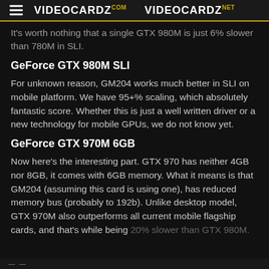VIDEOCARDZ.COM   VIDEOCARDZ.NET
It's worth nothing that a single GTX 980M is just 6% slower than 780M in SLI.
GeForce GTX 980M SLI
For unknown reason, GM204 works much better in SLI on mobile platform. We have 95+% scaling, which absolutely fantastic score. Whether this is just a well written driver or a new technology for mobile GPUs, we do not know yet.
GeForce GTX 970M 6GB
Now here's the interesting part. GTX 970 has neither 4GB nor 8GB, it comes with 6GB memory. What it means is that GM204 (assuming this card is using one), has reduced memory bus (probably to 192b). Unlike desktop model, GTX 970M also outperforms all current mobile flagship cards, and that's while being 20% slower than GTX 980M.
— —